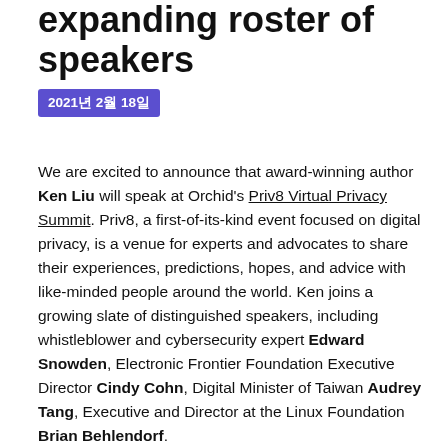expanding roster of speakers
2021년 2월 18일
We are excited to announce that award-winning author Ken Liu will speak at Orchid's Priv8 Virtual Privacy Summit. Priv8, a first-of-its-kind event focused on digital privacy, is a venue for experts and advocates to share their experiences, predictions, hopes, and advice with like-minded people around the world. Ken joins a growing slate of distinguished speakers, including whistleblower and cybersecurity expert Edward Snowden, Electronic Frontier Foundation Executive Director Cindy Cohn, Digital Minister of Taiwan Audrey Tang, Executive and Director at the Linux Foundation Brian Behlendorf.